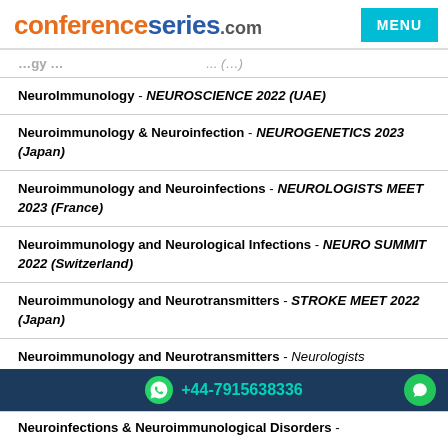conferenceseries.com MENU
NeuroImmunology - NEUROSCIENCE 2022 (UAE)
Neuroimmunology & Neuroinfection - NEUROGENETICS 2023 (Japan)
Neuroimmunology and Neuroinfections - NEUROLOGISTS MEET 2023 (France)
Neuroimmunology and Neurological Infections - NEURO SUMMIT 2022 (Switzerland)
Neuroimmunology and Neurotransmitters - STROKE MEET 2022 (Japan)
Neuroimmunology and Neurotransmitters - Neurologists
+44-7915638336
Neuroinfections & Neuroimmunological Disorders -